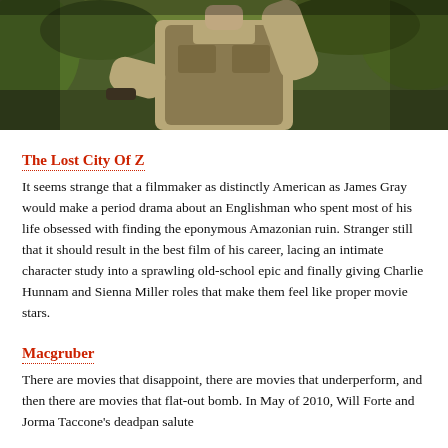[Figure (photo): A man in khaki outdoor clothing raising his arm, photographed outdoors with green foliage background]
The Lost City Of Z
It seems strange that a filmmaker as distinctly American as James Gray would make a period drama about an Englishman who spent most of his life obsessed with finding the eponymous Amazonian ruin. Stranger still that it should result in the best film of his career, lacing an intimate character study into a sprawling old-school epic and finally giving Charlie Hunnam and Sienna Miller roles that make them feel like proper movie stars.
Macgruber
There are movies that disappoint, there are movies that underperform, and then there are movies that flat-out bomb. In May of 2010, Will Forte and Jorma Taccone's deadpan salute